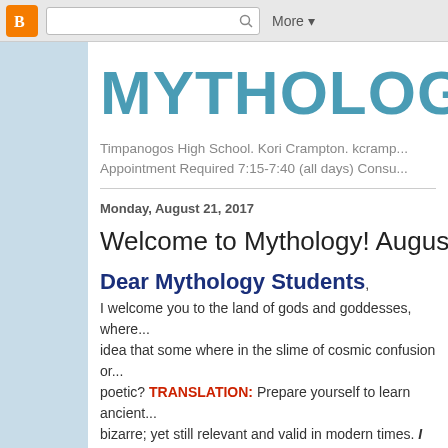[Figure (screenshot): Blogger navigation bar with orange Blogger icon, search box, and More dropdown]
MYTHOLOGY
Timpanogos High School. Kori Crampton. kcramp... Appointment Required 7:15-7:40 (all days) Consu...
Monday, August 21, 2017
Welcome to Mythology! August 23, 20...
Dear Mythology Students, I welcome you to the land of gods and goddesses, where... idea that some where in the slime of cosmic confusion or... poetic? TRANSLATION: Prepare yourself to learn ancient... bizarre; yet still relevant and valid in modern times. I welc...